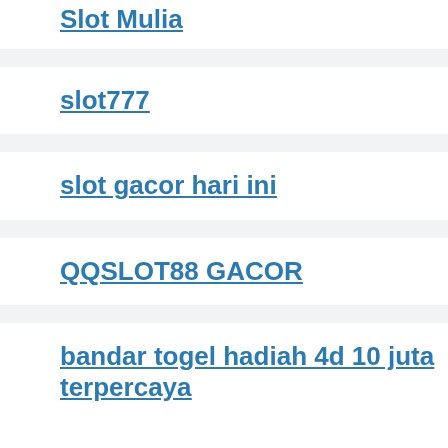Slot Mulia
slot777
slot gacor hari ini
QQSLOT88 GACOR
bandar togel hadiah 4d 10 juta terpercaya